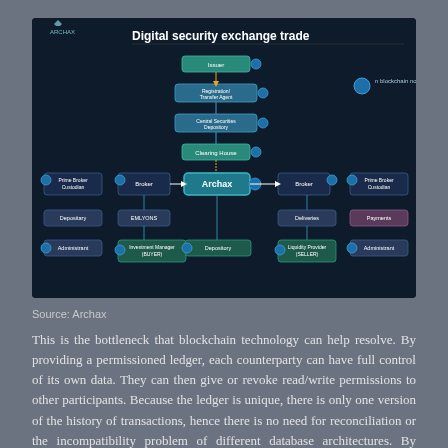[Figure (flowchart): Digital security exchange trade flowchart by Archax showing the flow between parties including Prime Broker Custodian, Broker, Archax (central node), Settlement, Investment Manager (BUYER), Depository, Liquidity Provider (SELLER), and n blockchain nodes at the top. Arrows show transaction flow through the system.]
Source: Archax
This is the bottleneck that blockchain technology can help resolve. By providing a permissioned ledger, each counterparty can have full control of its own data. They can then give or revoke read/write permissions to other participants. Because the ledger is unique, there is only one version of the history of transactions, hence there is no need for reconciliation or the incompatibility problem of different database architectures. By having a permissioned ledger, only some counterparties can share the